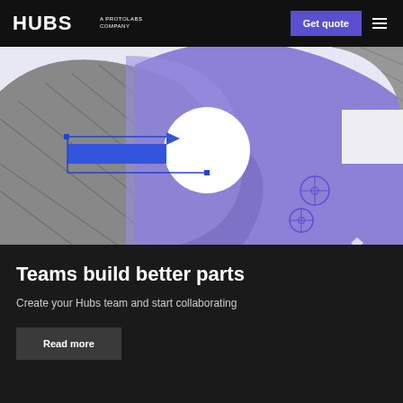HUBS A PROTOLABS COMPANY
[Figure (illustration): Hero illustration showing engineering/manufacturing design with geometric shapes: a large dark gray textured arc/gear shape overlapping with purple/lavender geometric shapes including a semicircle, rectangle, and engineering drawing annotations with circle crosshairs. Background is light lavender.]
Teams build better parts
Create your Hubs team and start collaborating
Read more